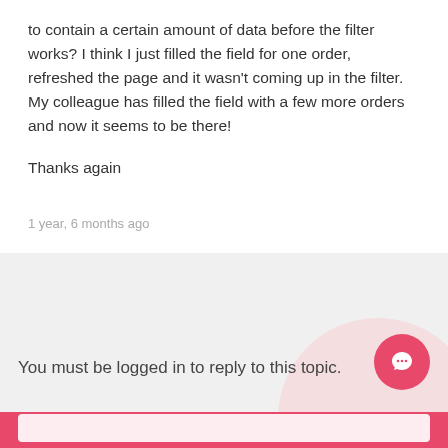to contain a certain amount of data before the filter works? I think I just filled the field for one order, refreshed the page and it wasn't coming up in the filter. My colleague has filled the field with a few more orders and now it seems to be there!
Thanks again
1 year, 6 months ago
You must be logged in to reply to this topic.